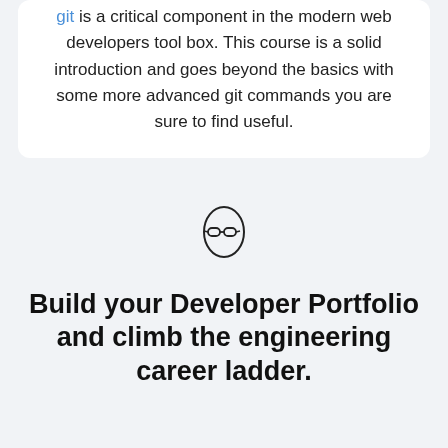git is a critical component in the modern web developers tool box. This course is a solid introduction and goes beyond the basics with some more advanced git commands you are sure to find useful.
[Figure (illustration): Simple line-art avatar icon: egg-shaped head with glasses]
Build your Developer Portfolio and climb the engineering career ladder.